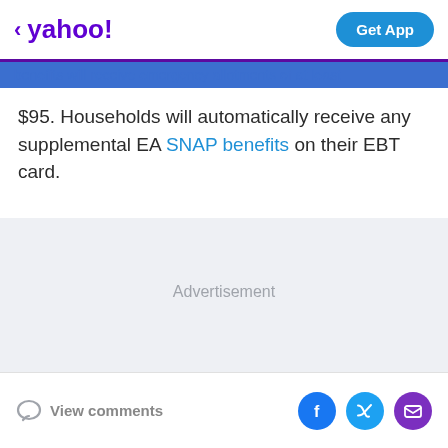yahoo! Get App
benefits will receive emergency allotments of at least $95. Households will automatically receive any supplemental EA SNAP benefits on their EBT card.
[Figure (other): Advertisement placeholder area with light gray background]
View comments